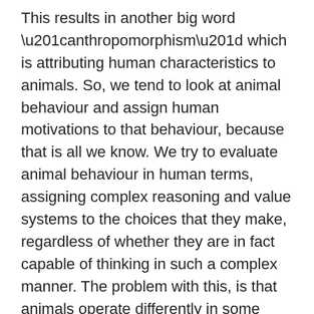This results in another big word “anthropomorphism” which is attributing human characteristics to animals. So, we tend to look at animal behaviour and assign human motivations to that behaviour, because that is all we know. We try to evaluate animal behaviour in human terms, assigning complex reasoning and value systems to the choices that they make, regardless of whether they are in fact capable of thinking in such a complex manner. The problem with this, is that animals operate differently in some areas than we do.
At this point we need to look at some common examples of how dog